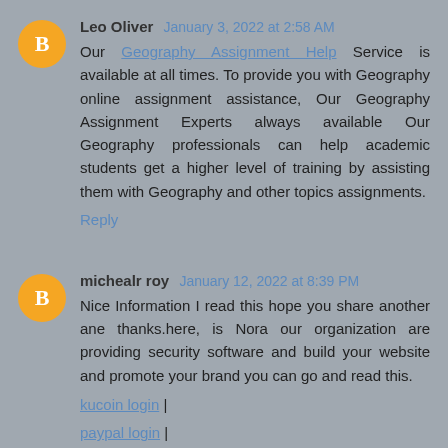Leo Oliver  January 3, 2022 at 2:58 AM
Our Geography Assignment Help Service is available at all times. To provide you with Geography online assignment assistance, Our Geography Assignment Experts always available Our Geography professionals can help academic students get a higher level of training by assisting them with Geography and other topics assignments.
Reply
michealr roy  January 12, 2022 at 8:39 PM
Nice Information I read this hope you share another ane thanks.here, is Nora our organization are providing security software and build your website and promote your brand you can go and read this.
kucoin login |
paypal login |
crypto.com login |
Reply